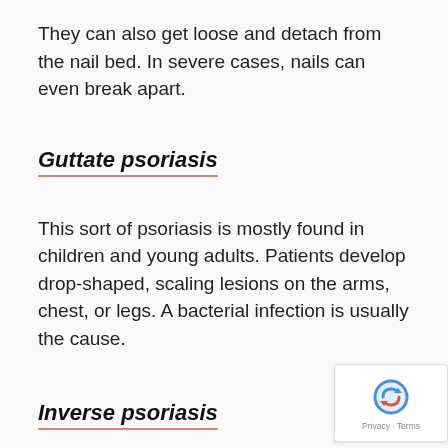They can also get loose and detach from the nail bed. In severe cases, nails can even break apart.
Guttate psoriasis
This sort of psoriasis is mostly found in children and young adults. Patients develop drop-shaped, scaling lesions on the arms, chest, or legs. A bacterial infection is usually the cause.
Inverse psoriasis